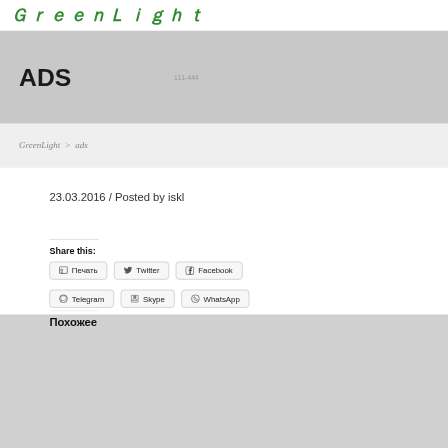[Figure (logo): Green italic script logo text partially visible at top]
ADS
111-444
GreenLight > ads
23.03.2016 / Posted by iskl
Share this:
Печать
Twitter
Facebook
Telegram
Skype
WhatsApp
Похожее